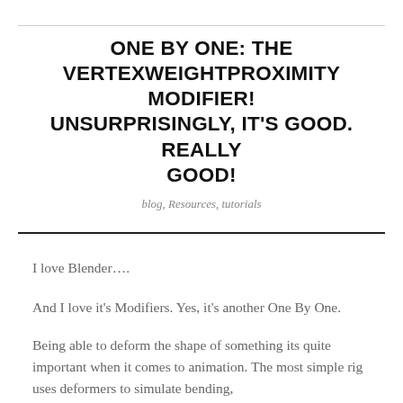ONE BY ONE: THE VERTEXWEIGHTPROXIMITY MODIFIER! UNSURPRISINGLY, IT'S GOOD. REALLY GOOD!
blog, Resources, tutorials
I love Blender….
And I love it's Modifiers. Yes, it's another One By One.
Being able to deform the shape of something its quite important when it comes to animation. The most simple rig uses deformers to simulate bending,